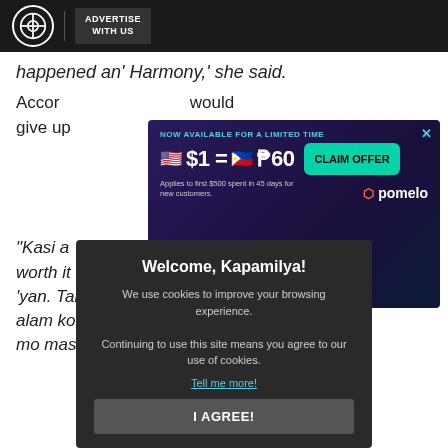ABS-CBN | ADVERTISE WITH US
happened an' Harmony, she said.
According to McCoy, he disclosed that he would give up
[Figure (other): Pomelo advertisement banner: NOW AVAILABLE FOR A LIMITED TIME. $1 = ₱60. CLAIM OFFER. Applies to first $500 spent in 45 days for new customers. pomelo logo.]
"Kasi a to, worth it 'to,' kahit 'yung nasa paligid mo, 'Hindi, hindi na 'yan. Tama 'to kasi alam kong ore alam mo masaki
[Figure (other): Cookie consent modal: Welcome, Kapamilya! We use cookies to improve your browsing experience. Continuing to use this site means you agree to our use of cookies. Tell me more! I AGREE! button.]
It was at this ar up, prompting B Light lang tayo. 'Wag t
"Hindi, ano lang, napuwing," answered McCoy with a